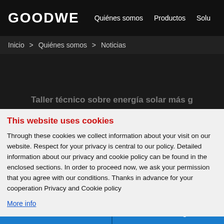GOODWE  Quiénes somos  Productos  Solu...
Inicio > Quiénes somos > Noticias
[Figure (screenshot): Dark banner area with partially visible article title: Taller técnico sobre energía solar más g...]
This website uses cookies
Through these cookies we collect information about your visit on our website. Respect for your privacy is central to our policy. Detailed information about our privacy and cookie policy can be found in the enclosed sections. In order to proceed now, we ask your permission that you agree with our conditions. Thanks in advance for your cooperation Privacy and Cookie policy
More info
OK, I AGREE
NO, THANKS
Suscríbete al boletín   Leave a message